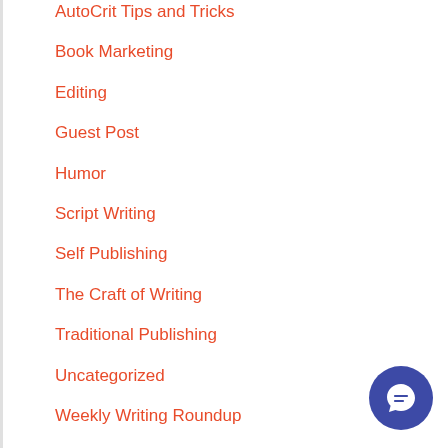AutoCrit Tips and Tricks
Book Marketing
Editing
Guest Post
Humor
Script Writing
Self Publishing
The Craft of Writing
Traditional Publishing
Uncategorized
Weekly Writing Roundup
What's the Score?
Writer's Life
Writers' Markets